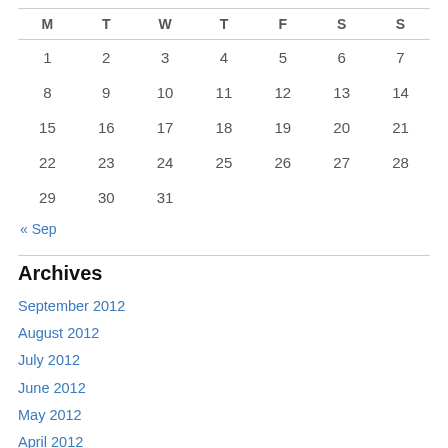| M | T | W | T | F | S | S |
| --- | --- | --- | --- | --- | --- | --- |
| 1 | 2 | 3 | 4 | 5 | 6 | 7 |
| 8 | 9 | 10 | 11 | 12 | 13 | 14 |
| 15 | 16 | 17 | 18 | 19 | 20 | 21 |
| 22 | 23 | 24 | 25 | 26 | 27 | 28 |
| 29 | 30 | 31 |  |  |  |  |
« Sep
Archives
September 2012
August 2012
July 2012
June 2012
May 2012
April 2012
March 2012
February 2012